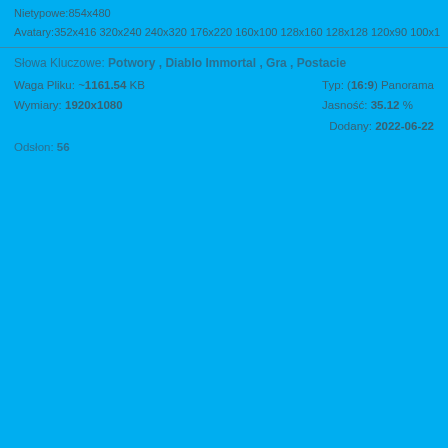Nietypowe:854x480
Avatary:352x416 320x240 240x320 176x220 160x100 128x160 128x128 120x90 100x10
Słowa Kluczowe: Potwory , Diablo Immortal , Gra , Postacie
Waga Pliku: ~1161.54 KB
Wymiary: 1920x1080
Typ: (16:9) Panorama
Jasność: 35.12 %
Dodany: 2022-06-22
Odsłon: 56